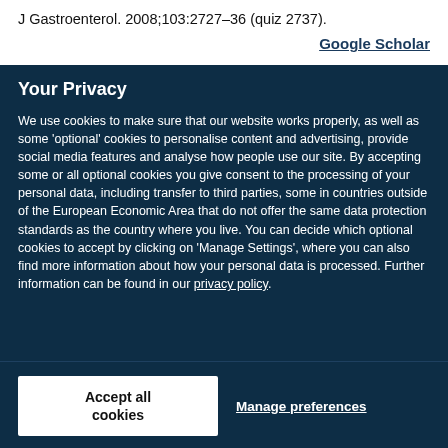J Gastroenterol. 2008;103:2727–36 (quiz 2737).
Google Scholar
Your Privacy
We use cookies to make sure that our website works properly, as well as some 'optional' cookies to personalise content and advertising, provide social media features and analyse how people use our site. By accepting some or all optional cookies you give consent to the processing of your personal data, including transfer to third parties, some in countries outside of the European Economic Area that do not offer the same data protection standards as the country where you live. You can decide which optional cookies to accept by clicking on 'Manage Settings', where you can also find more information about how your personal data is processed. Further information can be found in our privacy policy.
Accept all cookies
Manage preferences